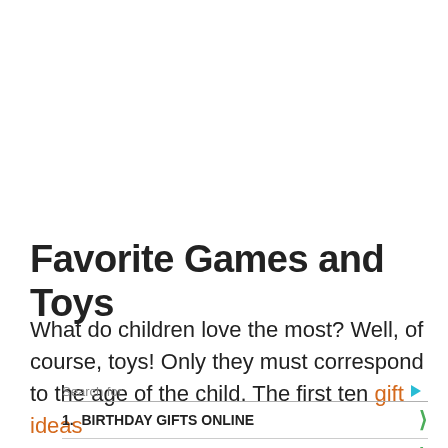Favorite Games and Toys
What do children love the most? Well, of course, toys! Only they must correspond to the age of the child. The first ten gift ideas
Search for
1. BIRTHDAY GIFTS ONLINE
2. UNIQUE SYMPATHY GIFTS
Yahoo! Search | Sponsored